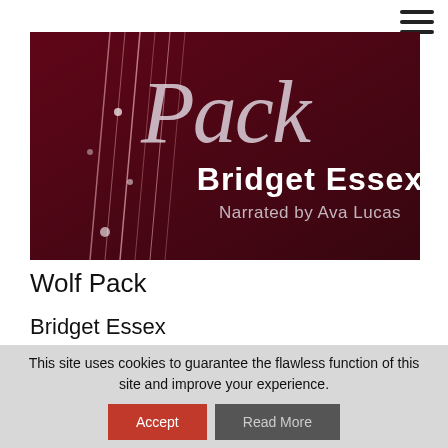[Figure (illustration): Book cover for 'Wolf Pack' by Bridget Essex, narrated by Ava Lucas. Dark crimson/maroon background with white script text reading 'Pack' at top, decorative white lines and small dots on left side, author name 'Bridget Essex' in large white sans-serif text, and 'Narrated by Ava Lucas' in smaller text below.]
Wolf Pack
Bridget Essex
This site uses cookies to guarantee the flawless function of this site and improve your experience.